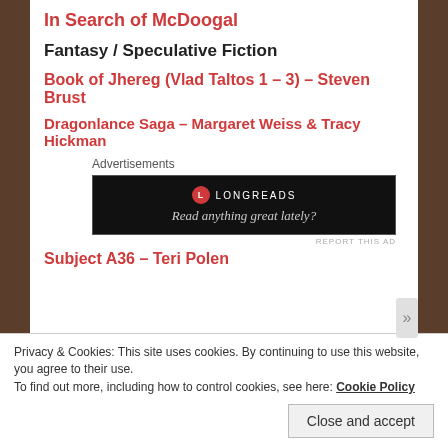In Search of McDoogal
Fantasy / Speculative Fiction
Book of Jhereg (Vlad Taltos 1 – 3) – Steven Brust
Dragonlance Saga – Margaret Weiss & Tracy Hickman
Advertisements
[Figure (other): Longreads advertisement: Read anything great lately?]
Subject A36 – Teri Polen
Privacy & Cookies: This site uses cookies. By continuing to use this website, you agree to their use.
To find out more, including how to control cookies, see here: Cookie Policy
Close and accept